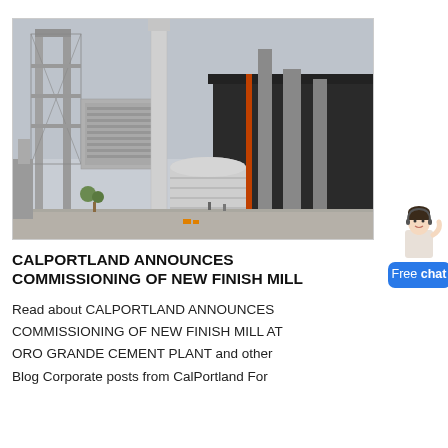[Figure (photo): Photograph of a large industrial cement plant or finish mill facility, showing tall metal structures, silos, conveyors, and a large dark building in the background under an overcast sky.]
CALPORTLAND ANNOUNCES COMMISSIONING OF NEW FINISH MILL
Read about CALPORTLAND ANNOUNCES COMMISSIONING OF NEW FINISH MILL AT ORO GRANDE CEMENT PLANT and other Blog Corporate posts from CalPortland For